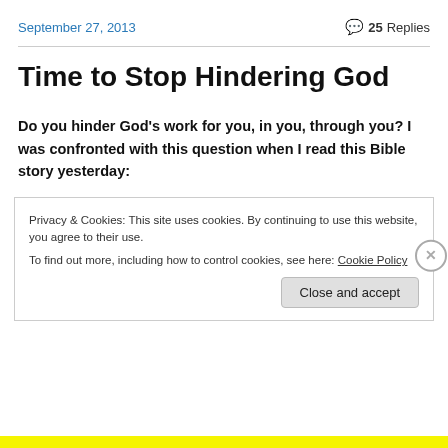September 27, 2013
💬 25 Replies
Time to Stop Hindering God
Do you hinder God's work for you, in you, through you? I was confronted with this question when I read this Bible story yesterday:
Privacy & Cookies: This site uses cookies. By continuing to use this website, you agree to their use. To find out more, including how to control cookies, see here: Cookie Policy
Close and accept